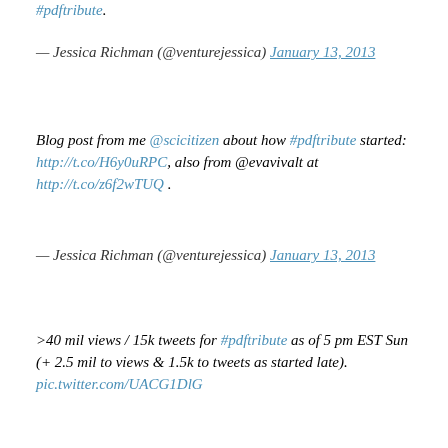#pdftribute.
— Jessica Richman (@venturejessica) January 13, 2013
Blog post from me @scicitizen about how #pdftribute started: http://t.co/H6y0uRPC, also from @evavivalt at http://t.co/z6f2wTUQ .
— Jessica Richman (@venturejessica) January 13, 2013
>40 mil views / 15k tweets for #pdftribute as of 5 pm EST Sun (+ 2.5 mil to views & 1.5k to tweets as started late). pic.twitter.com/UACG1DlG